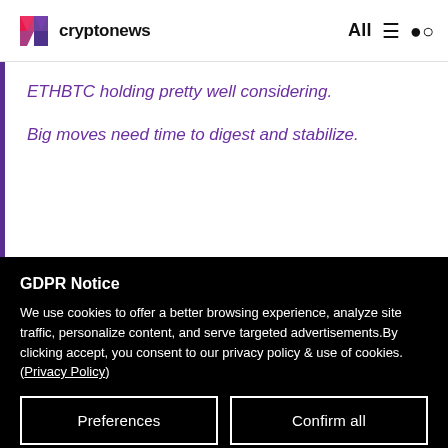cryptonews  All
ETHBTC holding pretty well considering.

Big moves need time to digest and stabilize.
GDPR Notice
We use cookies to offer a better browsing experience, analyze site traffic, personalize content, and serve targeted advertisements.By clicking accept, you consent to our privacy policy & use of cookies. (Privacy Policy)